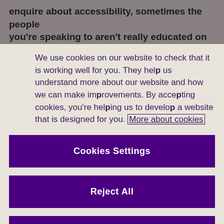enquire about accessibility, sometimes the people you're speaking to aren't really educated on the
We use cookies on our website to check that it is working well for you. They help us understand more about our website and how we can make improvements. By accepting cookies, you're helping us to develop a website that is designed for you. More about cookies
Cookies Settings
Reject All
Accept All Cookies